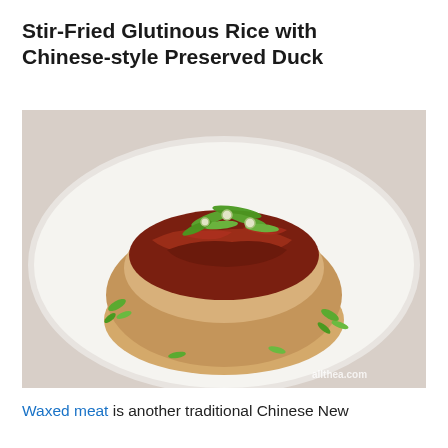Stir-Fried Glutinous Rice with Chinese-style Preserved Duck
[Figure (photo): A dome-shaped mound of glutinous rice topped with Chinese-style preserved duck meat and chopped green onions, served on a white plate.]
Waxed meat is another traditional Chinese New